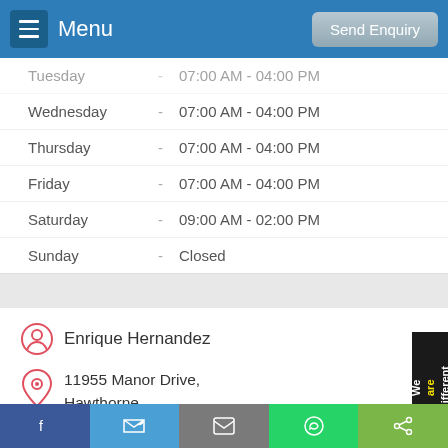Menu | Send Enquiry
| Day |  | Hours |
| --- | --- | --- |
| Tuesday | - | 07:00 AM - 04:00 PM |
| Wednesday | - | 07:00 AM - 04:00 PM |
| Thursday | - | 07:00 AM - 04:00 PM |
| Friday | - | 07:00 AM - 04:00 PM |
| Saturday | - | 09:00 AM - 02:00 PM |
| Sunday | - | Closed |
Enrique Hernandez
11955 Manor Drive, Hawthorne, CA 90250
Visit Website
View On Map
Facebook | Twitter | Email | WhatsApp | Share